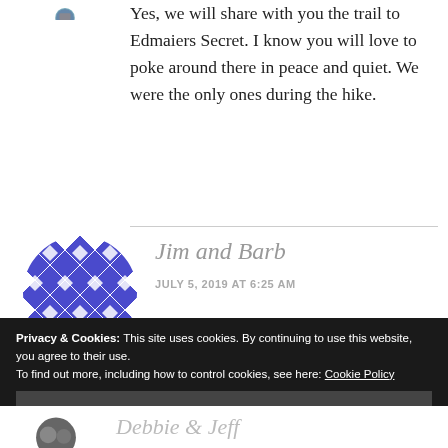[Figure (photo): Partial circular avatar photo at top left, cropped at top of page]
Yes, we will share with you the trail to Edmaiers Secret. I know you will love to poke around there in peace and quiet. We were the only ones during the hike.
[Figure (illustration): Circular avatar with blue and white geometric diamond/quilt pattern for Jim and Barb commenter]
Jim and Barb
JULY 5, 2019 AT 6:25 AM
Privacy & Cookies: This site uses cookies. By continuing to use this website, you agree to their use.
To find out more, including how to control cookies, see here: Cookie Policy
Close and accept
[Figure (photo): Partial circular avatar photo at bottom left for Debbie & Jeff]
Debbie & Jeff